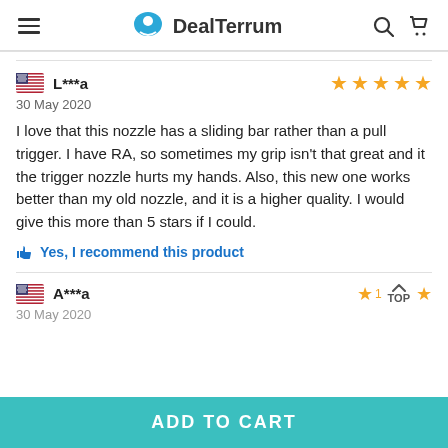DealTerrum
L***a
30 May 2020
I love that this nozzle has a sliding bar rather than a pull trigger. I have RA, so sometimes my grip isn't that great and it the trigger nozzle hurts my hands. Also, this new one works better than my old nozzle, and it is a higher quality. I would give this more than 5 stars if I could.
Yes, I recommend this product
A***a
30 May 2020
ADD TO CART